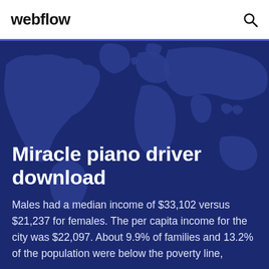webflow
[Figure (map): World map silhouette in dark blue tones used as hero background]
Miracle piano driver download
Males had a median income of $33,102 versus $21,237 for females. The per capita income for the city was $22,097. About 9.9% of families and 13.2% of the population were below the poverty line,